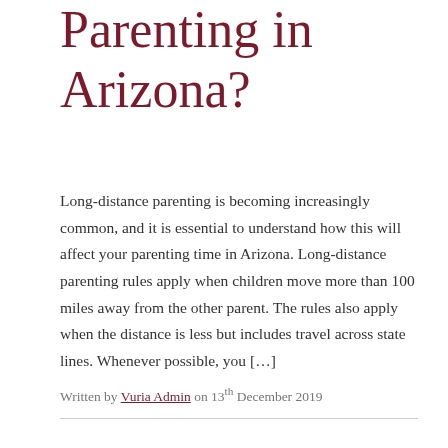Parenting in Arizona?
Long-distance parenting is becoming increasingly common, and it is essential to understand how this will affect your parenting time in Arizona. Long-distance parenting rules apply when children move more than 100 miles away from the other parent. The rules also apply when the distance is less but includes travel across state lines. Whenever possible, you […]
Written by Vuria Admin on 13th December 2019